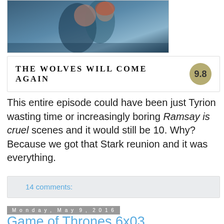[Figure (photo): Two characters embracing in a scene from Game of Thrones, snowy/cold setting, one appears to be Jon Snow and the other Sansa Stark]
THE WOLVES WILL COME AGAIN  9.8
This entire episode could have been just Tyrion wasting time or increasingly boring Ramsay is cruel scenes and it would still be 10. Why? Because we got that Stark reunion and it was everything.
14 comments:
Monday, May 9, 2016
Game of Thrones 6x03 Oathbreaker
[Figure (screenshot): Bottom image placeholder/thumbnail partially visible]